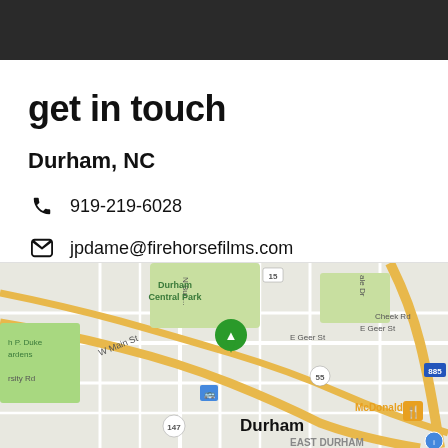[Figure (photo): Dark header banner photograph at top of page]
get in touch
Durham, NC
919-219-6028
jpdame@firehorsefilms.com
[Figure (map): Google Maps view of Durham, NC showing Durham Central Park, W Main St, E Geer St, Cheek Rd, McDonald's, and surrounding streets]